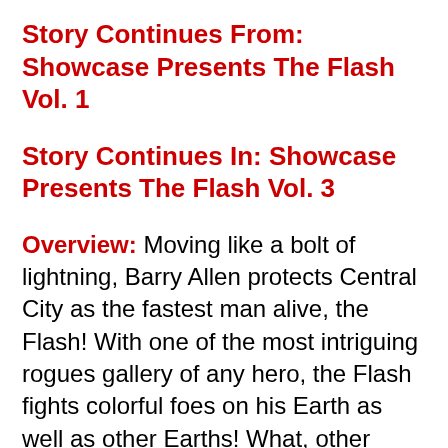Story Continues From: Showcase Presents The Flash Vol. 1
Story Continues In: Showcase Presents The Flash Vol. 3
Overview: Moving like a bolt of lightning, Barry Allen protects Central City as the fastest man alive, the Flash! With one of the most intriguing rogues gallery of any hero, the Flash fights colorful foes on his Earth as well as other Earths! What, other Earths you ask? Yes, sit back and enjoy this read, as we will be crossing dimensions to other earths. Welcome to Showcase Presents The Flash Vol. 2